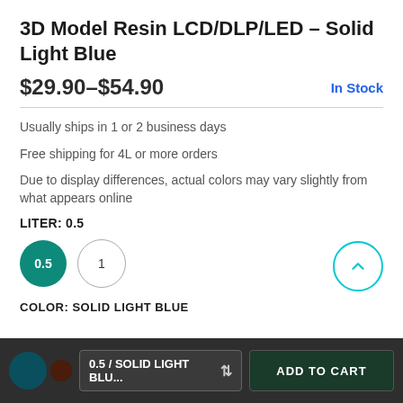3D Model Resin LCD/DLP/LED - Solid Light Blue
$29.90–$54.90   In Stock
Usually ships in 1 or 2 business days
Free shipping for 4L or more orders
Due to display differences, actual colors may vary slightly from what appears online
LITER: 0.5
COLOR: SOLID LIGHT BLUE
0.5 / SOLID LIGHT BLU...   ADD TO CART